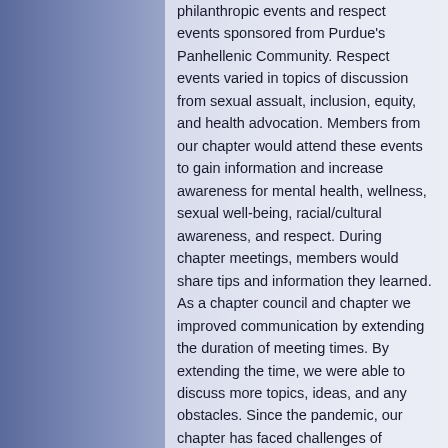philanthropic events and respect events sponsored from Purdue's Panhellenic Community. Respect events varied in topics of discussion from sexual assualt, inclusion, equity, and health advocation. Members from our chapter would attend these events to gain information and increase awareness for mental health, wellness, sexual well-being, racial/cultural awareness, and respect. During chapter meetings, members would share tips and information they learned. As a chapter council and chapter we improved communication by extending the duration of meeting times. By extending the time, we were able to discuss more topics, ideas, and any obstacles. Since the pandemic, our chapter has faced challenges of providing some sort of normalcy. As a chapter, we were able to maintain living